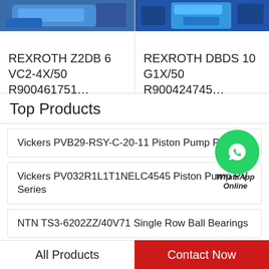[Figure (photo): Blue mechanical part product photo - left side]
[Figure (photo): Blue Rexroth product photo - right side]
REXROTH Z2DB 6 VC2-4X/50 R900461751…
REXROTH DBDS 10 G1X/50 R900424745…
Top Products
Vickers PVB29-RSY-C-20-11 Piston Pump P…
[Figure (logo): WhatsApp green circle icon with phone logo and text 'WhatsApp Online']
Vickers PV032R1L1T1NELC4545 Piston Pump PV Series
NTN TS3-6202ZZ/40V71 Single Row Ball Bearings
FAG 22340 MB C4 Spherical Roller Bearings
All Products
Contact Now